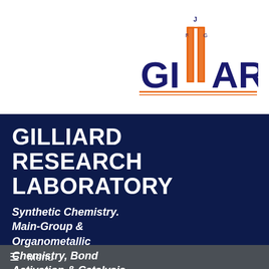[Figure (logo): GILLIARD laboratory logo with two vertical orange columns/tubes and the text GILLIARD in dark blue with orange underline, small letters J, R, G above columns]
GILLIARD RESEARCH LABORATORY
Synthetic Chemistry. Main-Group & Organometallic Chemistry, Bond Activation & Catalysis, Hybrid Materials
≡ Menu